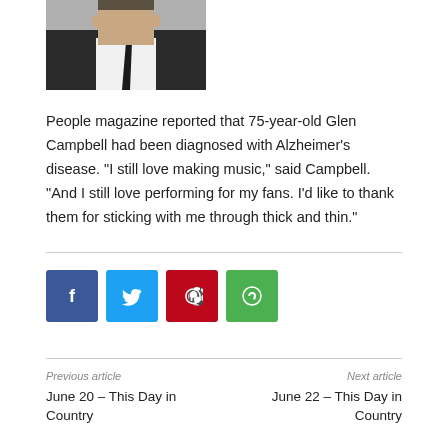[Figure (photo): Partial photo of a person in a white shirt and dark tie/suit, cropped at top]
People magazine reported that 75-year-old Glen Campbell had been diagnosed with Alzheimer's disease. “I still love making music,” said Campbell. “And I still love performing for my fans. I’d like to thank them for sticking with me through thick and thin.”
Previous article
June 20 – This Day in Country
Next article
June 22 – This Day in Country